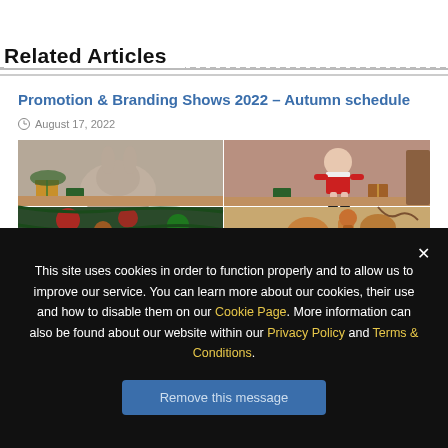Related Articles
Promotion & Branding Shows 2022 – Autumn schedule
August 17, 2022
[Figure (photo): Four-panel image showing Christmas stuffed animal toys and gift boxes on a wooden surface with holiday decorations]
This site uses cookies in order to function properly and to allow us to improve our service. You can learn more about our cookies, their use and how to disable them on our Cookie Page. More information can also be found about our website within our Privacy Policy and Terms & Conditions.
Remove this message